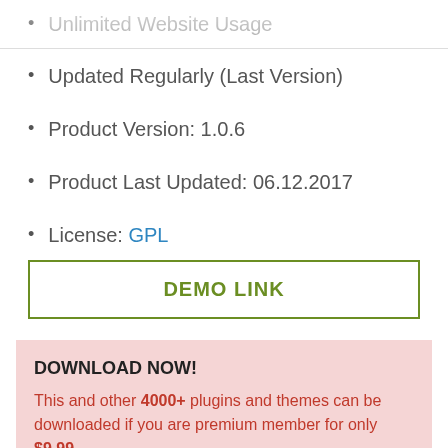Unlimited Website Usage
Updated Regularly (Last Version)
Product Version: 1.0.6
Product Last Updated: 06.12.2017
License: GPL
DEMO LINK
DOWNLOAD NOW!
This and other 4000+ plugins and themes can be downloaded if you are premium member for only $9.99.
JOIN NOW